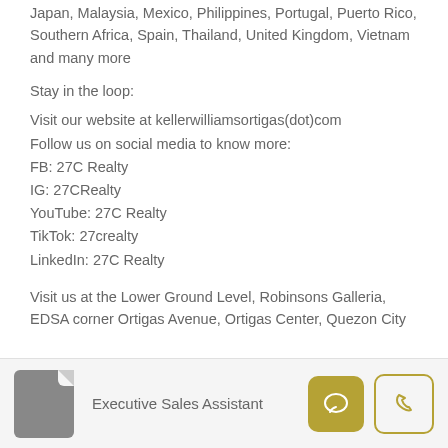Japan, Malaysia, Mexico, Philippines, Portugal, Puerto Rico, Southern Africa, Spain, Thailand, United Kingdom, Vietnam and many more
Stay in the loop:
Visit our website at kellerwilliamsortigas(dot)com
Follow us on social media to know more:
FB: 27C Realty
IG: 27CRealty
YouTube: 27C Realty
TikTok: 27crealty
LinkedIn: 27C Realty
Visit us at the Lower Ground Level, Robinsons Galleria, EDSA corner Ortigas Avenue, Ortigas Center, Quezon City
Executive Sales Assistant